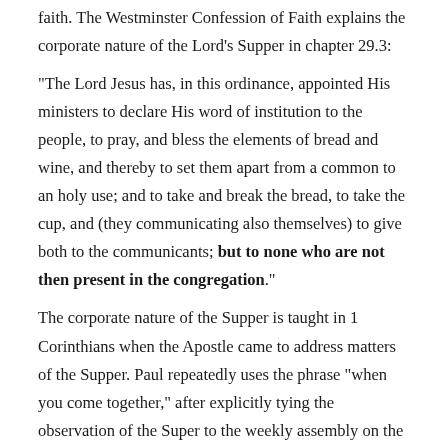faith. The Westminster Confession of Faith explains the corporate nature of the Lord's Supper in chapter 29.3:
"The Lord Jesus has, in this ordinance, appointed His ministers to declare His word of institution to the people, to pray, and bless the elements of bread and wine, and thereby to set them apart from a common to an holy use; and to take and break the bread, to take the cup, and (they communicating also themselves) to give both to the communicants; but to none who are not then present in the congregation."
The corporate nature of the Supper is taught in 1 Corinthians when the Apostle came to address matters of the Supper. Paul repeatedly uses the phrase "when you come together," after explicitly tying the observation of the Super to the weekly assembly on the Lord's Day. In 1 Corinthians 11:18, he writes,
"When you come together as a church..." After that, he repeats the